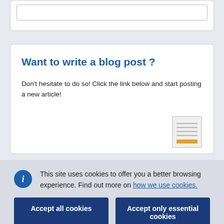[Figure (screenshot): Partial top card with inner bordered rectangle, white background]
Want to write a blog post ?
Don't hesitate to do so! Click the link below and start posting a new article!
This site uses cookies to offer you a better browsing experience. Find out more on how we use cookies.
Accept all cookies
Accept only essential cookies